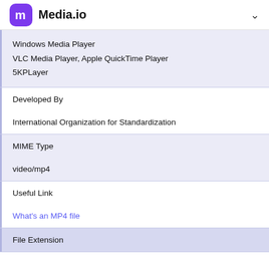Media.io
| Windows Media Player
VLC Media Player, Apple QuickTime Player
5KPLayer |
| Developed By | International Organization for Standardization |
| MIME Type | video/mp4 |
| Useful Link | What's an MP4 file |
| File Extension |